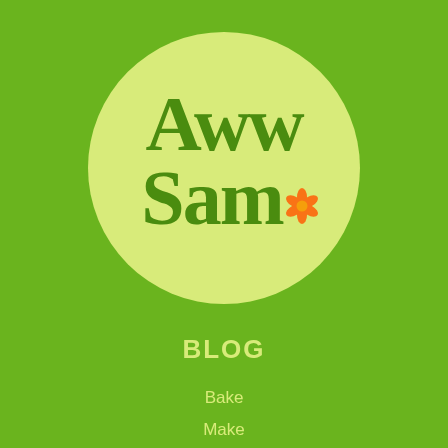[Figure (logo): Aww Sam logo — a light yellow-green circle on a bright green background. Inside the circle is stylized retro bold text reading 'Aww Sam' in dark green, with an orange flower icon after 'Sam'.]
BLOG
Bake
Make